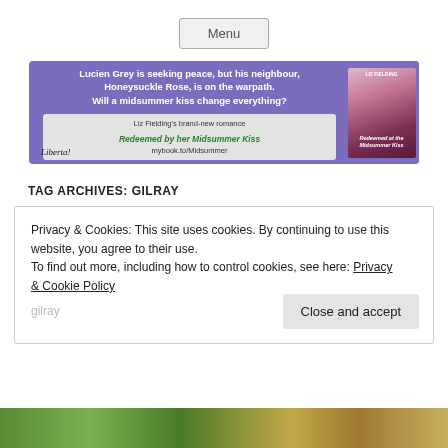Menu
[Figure (illustration): Purple advertisement banner for Liz Fielding's romance novel 'Redeemed by her Midsummer Kiss'. Text reads: 'Lucien Grey is seeking peace, but his neighbour, Honeysuckle Rose, is on the warpath. Will a midsummer kiss change everything?' with the URL mybook.to/Midsummer and a book cover image on the right side.]
TAG ARCHIVES: GILRAY
Privacy & Cookies: This site uses cookies. By continuing to use this website, you agree to their use.
To find out more, including how to control cookies, see here: Privacy & Cookie Policy
Close and accept
[Figure (photo): Partial bottom photo showing flowers or outdoor greenery scene.]